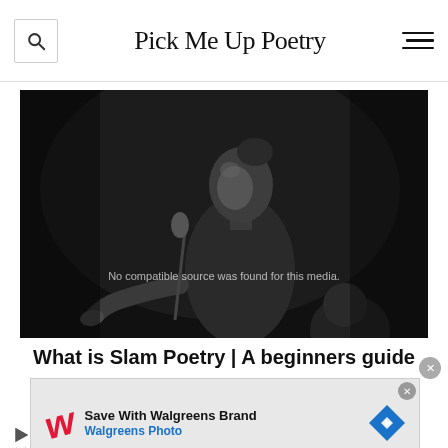Pick Me Up Poetry
[Figure (photo): Black and white photo of a woman performing spoken word poetry at a microphone on stage, with her arm extended outward, in dramatic stage lighting.]
What is Slam Poetry | A beginners guide
[Figure (other): Advertisement overlay: Save With Walgreens Brand - Walgreens Photo, with Walgreens W logo in red and a blue diamond-shaped arrow icon.]